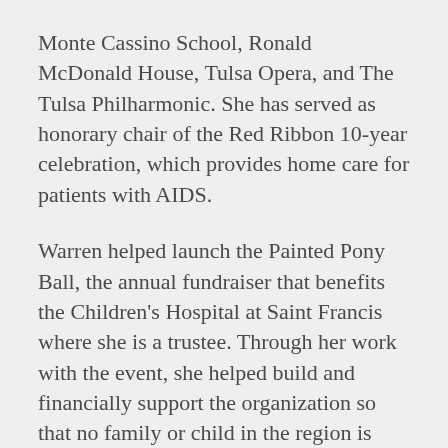Monte Cassino School, Ronald McDonald House, Tulsa Opera, and The Tulsa Philharmonic. She has served as honorary chair of the Red Ribbon 10-year celebration, which provides home care for patients with AIDS.
Warren helped launch the Painted Pony Ball, the annual fundraiser that benefits the Children's Hospital at Saint Francis where she is a trustee. Through her work with the event, she helped build and financially support the organization so that no family or child in the region is turned away for the lack of ability to pay.
She chaired the 75th Anniversary of the Tulsa Philharmonic featuring Reba McEntire and the Tulsa Philharmonic Orchestra, the Philbrook Gala, the